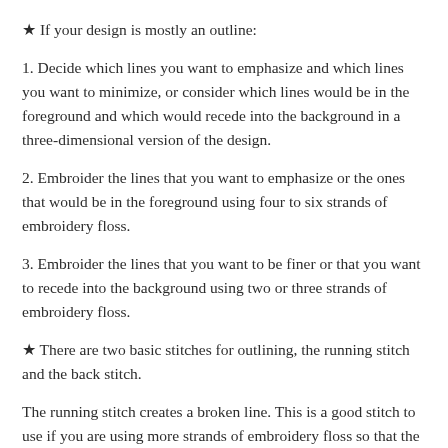★ If your design is mostly an outline:
1. Decide which lines you want to emphasize and which lines you want to minimize, or consider which lines would be in the foreground and which would recede into the background in a three-dimensional version of the design.
2. Embroider the lines that you want to emphasize or the ones that would be in the foreground using four to six strands of embroidery floss.
3. Embroider the lines that you want to be finer or that you want to recede into the background using two or three strands of embroidery floss.
★ There are two basic stitches for outlining, the running stitch and the back stitch.
The running stitch creates a broken line. This is a good stitch to use if you are using more strands of embroidery floss so that the thicker line is not too prominent, and it also works well for background detail.